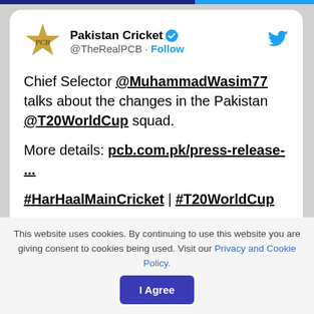[Figure (screenshot): Pakistan Cricket Twitter/X account tweet screenshot showing PCB gold star logo, verified badge, account name Pakistan Cricket @TheRealPCB with Follow link, and Twitter bird icon]
Chief Selector @MuhammadWasim77 talks about the changes in the Pakistan @T20WorldCup squad.
More details: pcb.com.pk/press-release-...
#HarHaalMainCricket | #T20WorldCup
[Figure (screenshot): Video preview thumbnail with Watch on Twitter button]
This website uses cookies. By continuing to use this website you are giving consent to cookies being used. Visit our Privacy and Cookie Policy.